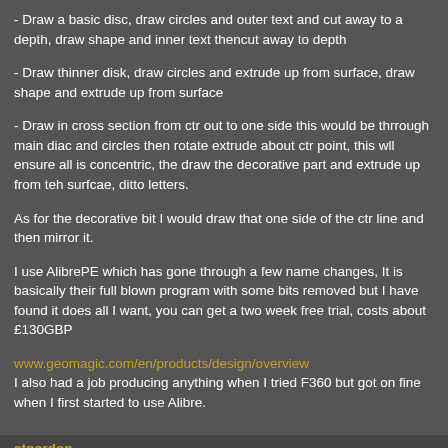- Draw a basic disc, draw circles and outer text and cut away to a depth, draw shape and inner text thencut away to depth
- Draw thinner disk, draw circles and extrude up from surface, draw shape and extrude up from surface
- Draw in cross section from ctr out to one side this would be thrrough main diac and circles then rotate extrude about ctr point, this wll ensure all is concentric, the draw the decorative part and extrude up from teh surfcae, ditto letters.
As for the decorative bit I would draw that one side of the ctr line and then mirror it.
I use AlibrePE which has gone through a few name changes, It is basically their full blown program with some bits removed but I have found it does all I want, you can get a two week free trial, costs about £130GBP
www.geomagic.com/en/products/design/overview
I also had a job producing anything when I tried F360 but got on fine when I first started to use Alibre.
atgordon
Hi-poster
[Figure (infographic): Advertisement banner showing a person in a kayak with text 'Retire to the Southeast?' from Cresswind with a Learn more link]